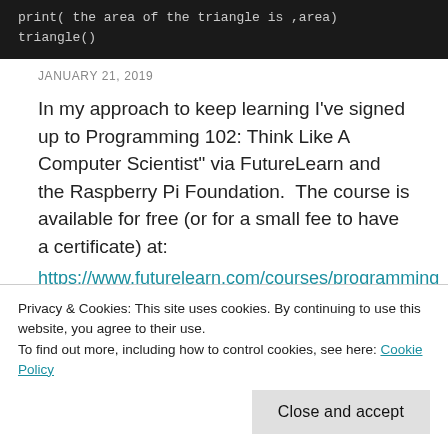[Figure (screenshot): Dark terminal/code block showing Python code: print('the area of the triangle is',area) on first line, triangle() on second line]
JANUARY 21, 2019
In my approach to keep learning I've signed up to Programming 102: Think Like A Computer Scientist" via FutureLearn and the Raspberry Pi Foundation.  The course is available for free (or for a small fee to have a certificate) at:
https://www.futurelearn.com/courses/programming
Privacy & Cookies: This site uses cookies. By continuing to use this website, you agree to their use.
To find out more, including how to control cookies, see here: Cookie Policy